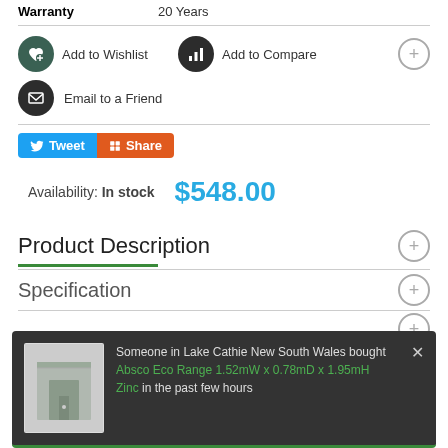| Warranty | 20 Years |
| --- | --- |
Add to Wishlist
Add to Compare
Email to a Friend
Tweet  Share
Availability: In stock   $548.00
Product Description
Specification
Accessories
Someone in Lake Cathie New South Wales bought Absco Eco Range 1.52mW x 0.78mD x 1.95mH Zinc in the past few hours